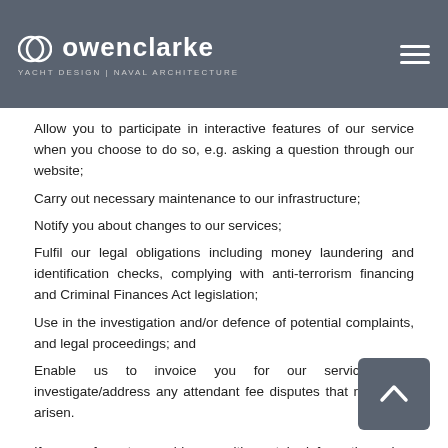Owen Clarke – Yacht Design | Naval Architecture
Provide you with information, products or services that you request from us or which we feel may interest you, where you have consented to be contacted for such purposes or by Legitimate Interests;
Allow you to participate in interactive features of our service when you choose to do so, e.g. asking a question through our website;
Carry out necessary maintenance to our infrastructure;
Notify you about changes to our services;
Fulfil our legal obligations including money laundering and identification checks, complying with anti-terrorism financing and Criminal Finances Act legislation;
Use in the investigation and/or defence of potential complaints, and legal proceedings; and
Enable us to invoice you for our services and investigate/address any attendant fee disputes that may have arisen.
If you refuse to provide us with certain information when requested, we may not be able to perform the contract we have entered into with you. Alternatively, we may be unable to comply with our legal or